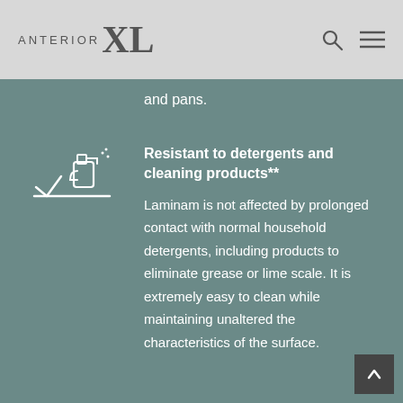ANTERIOR XL
and pans.
[Figure (illustration): White icon of a spray bottle and a checkmark on a line, representing cleaning resistance]
Resistant to detergents and cleaning products**
Laminam is not affected by prolonged contact with normal household detergents, including products to eliminate grease or lime scale. It is extremely easy to clean while maintaining unaltered the characteristics of the surface.